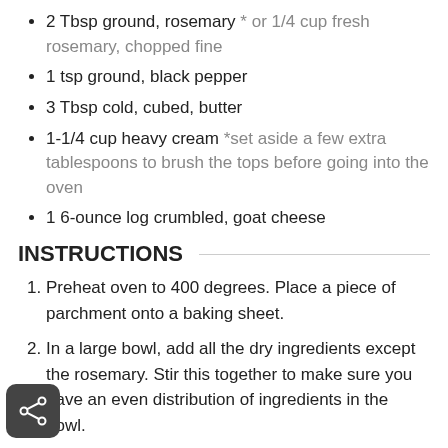2 Tbsp ground, rosemary * or 1/4 cup fresh rosemary, chopped fine
1 tsp ground, black pepper
3 Tbsp cold, cubed, butter
1-1/4 cup heavy cream *set aside a few extra tablespoons to brush the tops before going into the oven
1 6-ounce log crumbled, goat cheese
INSTRUCTIONS
Preheat oven to 400 degrees. Place a piece of parchment onto a baking sheet.
In a large bowl, add all the dry ingredients except the rosemary. Stir this together to make sure you have an even distribution of ingredients in the bowl.
Drop the cold butter cubes into the dry